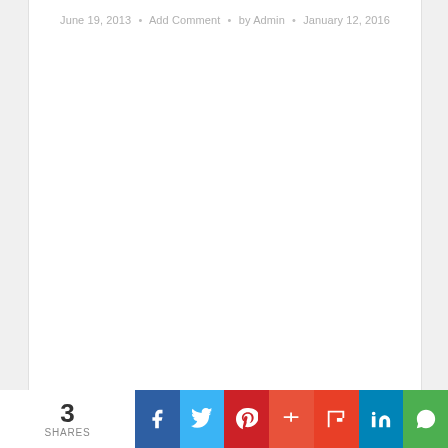June 19, 2013 • Add Comment • by Admin • January 12, 2016
3 SHARES
[Figure (infographic): Social sharing bar with icons for Facebook, Twitter, Pinterest, Google+, Flipboard, LinkedIn, WhatsApp]